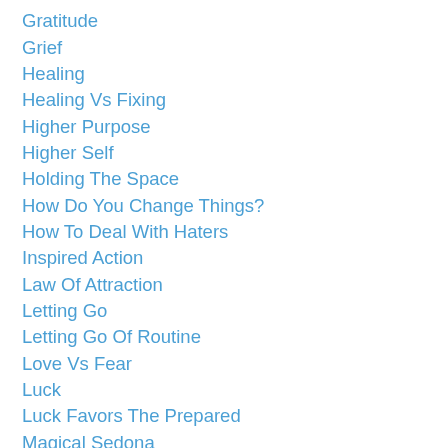Gratitude
Grief
Healing
Healing Vs Fixing
Higher Purpose
Higher Self
Holding The Space
How Do You Change Things?
How To Deal With Haters
Inspired Action
Law Of Attraction
Letting Go
Letting Go Of Routine
Love Vs Fear
Luck
Luck Favors The Prepared
Magical Sedona
Managing Your Inner Gremlin
Meditating
Metamorphosis
Motivated To...